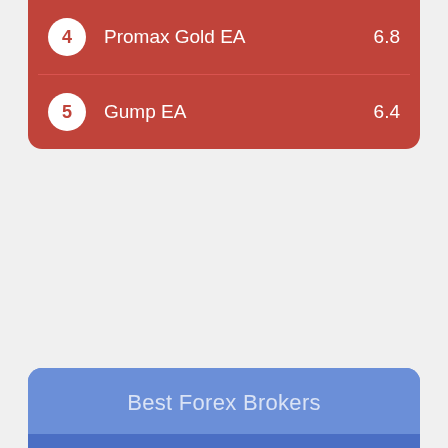4 Promax Gold EA 6.8
5 Gump EA 6.4
Best Forex Brokers
1 Techberry 8.7
2 XM 8.2
3 eToro 8.1